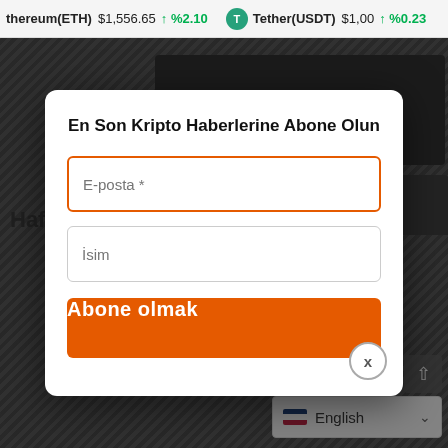thereum(ETH) $1,556.65 ↑ %2.10   Tether(USDT) $1,00 ↑ %0.23
[Figure (screenshot): Background webpage showing 'Everyday' banner and CryptoTab partial content with dark striped pattern]
Hafta
En Son Kripto Haberlerine Abone Olun
E-posta *
İsim
Abone olmak
x
Haftalık genel bakış
English